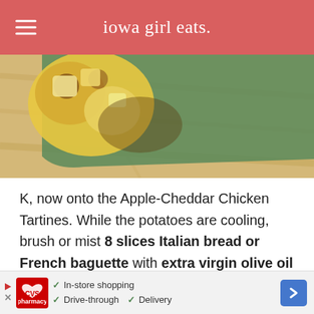iowa girl eats.
[Figure (photo): Close-up photo of food (bread with toppings, likely the Apple-Cheddar Chicken Tartines) on a wooden surface]
K, now onto the Apple-Cheddar Chicken Tartines. While the potatoes are cooling, brush or mist 8 slices Italian bread or French baguette with extra virgin olive oil then toast 'em under the broiler for 1-2 minutes a side, or until they're golden brown.
[Figure (other): CVS pharmacy advertisement banner with text: In-store shopping, Drive-through, Delivery]